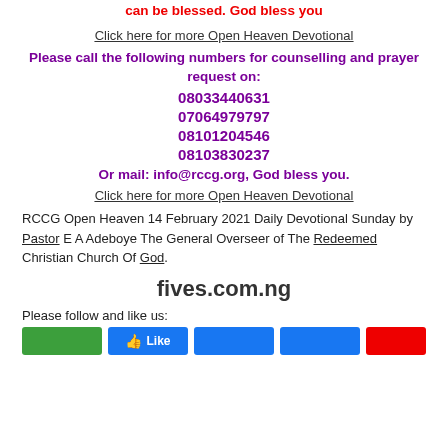can be blessed. God bless you
Click here for more Open Heaven Devotional
Please call the following numbers for counselling and prayer request on:
08033440631
07064979797
08101204546
08103830237
Or mail: info@rccg.org, God bless you.
Click here for more Open Heaven Devotional
RCCG Open Heaven 14 February 2021 Daily Devotional Sunday by Pastor E A Adeboye The General Overseer of The Redeemed Christian Church Of God.
fives.com.ng
Please follow and like us: